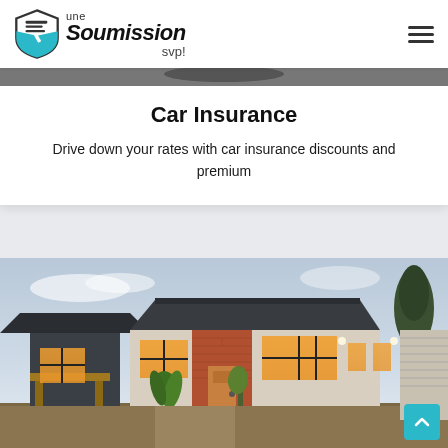une Soumission svp!
Car Insurance
Drive down your rates with car insurance discounts and premium
[Figure (photo): Modern single-storey house exterior at dusk with warm interior lighting visible through large windows, featuring a dark grey roof, brick and rendered walls, and tropical plants in the foreground]